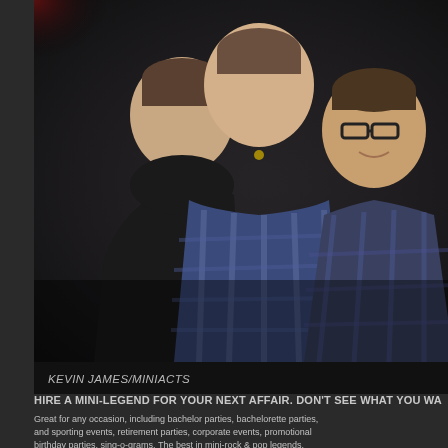[Figure (photo): Three men posing together in a dark venue. The man on the left wears a black shirt, the man in the middle wears a blue plaid shirt, and the man on the right wears glasses and a blue plaid jacket. The photo has a dark, nightlife atmosphere.]
KEVIN JAMES/MINIACTS
HIRE A MINI-LEGEND FOR YOUR NEXT AFFAIR. DON'T SEE WHAT YOU WA...
Great for any occasion, including bachelor parties, bachelorette parties, and sporting events, retirement parties, corporate events, promotional birthday parties, sing-o-grams. The best in mini-rock & pop legends.
MINI-ELVIS, MINI-GAGA, MINI-BRITTNEY, MINI-MADONNA, MINI-SING-O... ELF'S,leprechaun"s, MINI-SLASH, MINIKISS, MINI-MEET & GREETS, SPECI... WEDDINGS, BACHELOR PARTIES, CLUB PROMOTIONS, OFFICE PRANKS, ANNIVERSARIES, SPORTING EVENTS, PHOTO SHOOTS, BARS, PUBS, TV A...